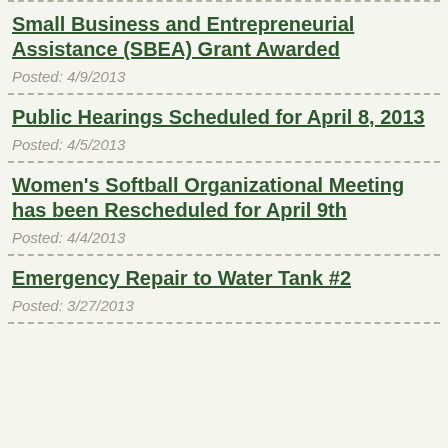Small Business and Entrepreneurial Assistance (SBEA) Grant Awarded
Posted: 4/9/2013
Public Hearings Scheduled for April 8, 2013
Posted: 4/5/2013
Women's Softball Organizational Meeting has been Rescheduled for April 9th
Posted: 4/4/2013
Emergency Repair to Water Tank #2
Posted: 3/27/2013